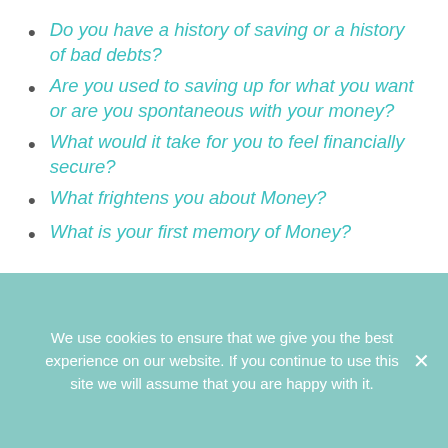Do you have a history of saving or a history of bad debts?
Are you used to saving up for what you want or are you spontaneous with your money?
What would it take for you to feel financially secure?
What frightens you about Money?
What is your first memory of Money?
We use cookies to ensure that we give you the best experience on our website. If you continue to use this site we will assume that you are happy with it.